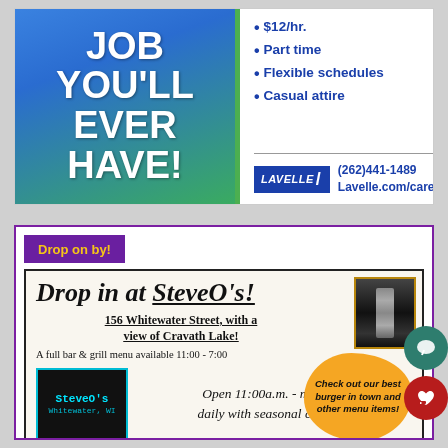[Figure (illustration): Lavelle job advertisement with green/blue gradient background on left showing 'JOB YOU'LL EVER HAVE!' in large white text, and white right panel listing bullet points: $12/hr., Part time, Flexible schedules, Casual attire, with Lavelle logo and contact info (262)441-1489 Lavelle.com/careers]
[Figure (illustration): SteveO's bar and grill advertisement. Header 'Drop on by!' in purple banner with yellow text. Main box shows 'Drop in at SteveO's!' in large bold italic underlined text, address '156 Whitewater Street, with a view of Cravath Lake!', menu info, orange bubble 'Check out our best burger in town and other menu items!', SteveO's logo in teal, hours Open 11:00a.m. - midnight daily with seasonal changes.]